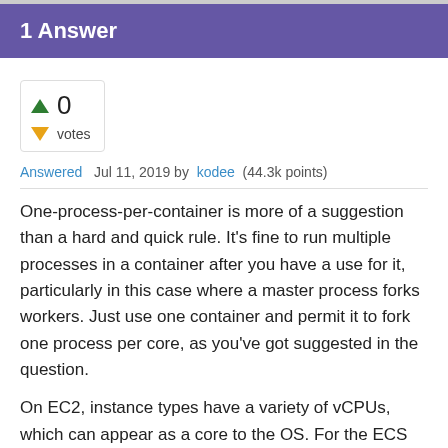1 Answer
0 votes
Answered   Jul 11, 2019 by  kodee  (44.3k points)
One-process-per-container is more of a suggestion than a hard and quick rule. It's fine to run multiple processes in a container after you have a use for it, particularly in this case where a master process forks workers. Just use one container and permit it to fork one process per core, as you've got suggested in the question.
On EC2, instance types have a variety of vCPUs, which can appear as a core to the OS. For the ECS cluster use an EC2 instance type like the c3.xlarge with four vCPUs. In ECS this translates to 4096 CPU units. If you want the